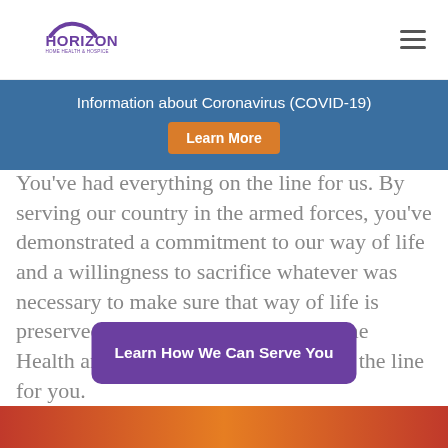[Figure (logo): Horizon Home Health and Hospice logo with purple arc and text]
Information about Coronavirus (COVID-19)
Learn More
You've had everything on the line for us. By serving our country in the armed forces, you've demonstrated a commitment to our way of life and a willingness to sacrifice whatever was necessary to make sure that way of life is preserved and protected. Horizon Home Health and Hospice is here to lay it on the line for you.
Learn How We Can Serve You
[Figure (photo): Bottom decorative banner image with warm red/orange tones]